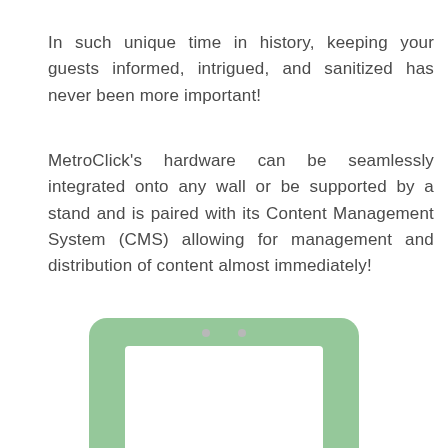In such unique time in history, keeping your guests informed, intrigued, and sanitized has never been more important!
MetroClick's hardware can be seamlessly integrated onto any wall or be supported by a stand and is paired with its Content Management System (CMS) allowing for management and distribution of content almost immediately!
[Figure (illustration): A green-colored tablet/kiosk device illustration showing a rectangular frame with rounded corners in light green, containing a white screen area, with two small camera dots at the top]